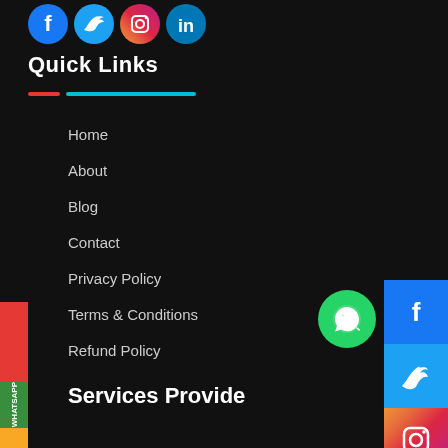[Figure (illustration): Social media icons at top: Facebook (blue circle with f), Twitter (blue circle with bird), Instagram (pink/orange circle with camera), LinkedIn (blue circle with in)]
Quick Links
[Figure (illustration): Decorative horizontal lines: short red line and longer cyan line]
Home
About
Blog
Contact
Privacy Policy
Terms & Conditions
Refund Policy
Services Provide
[Figure (illustration): Right side social panel with Facebook, Twitter, Instagram, LinkedIn icons. WhatsApp floating green circle button. Left sidebar with ENQUIRY NOW (red) and WHATSAPP (green) vertical text tabs. Bottom gold sidebar section.]